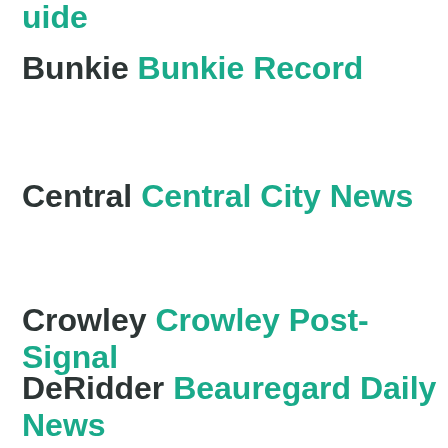Bunkie Bunkie Record
Central Central City News
Crowley Crowley Post-Signal
DeRidder Beauregard Daily News